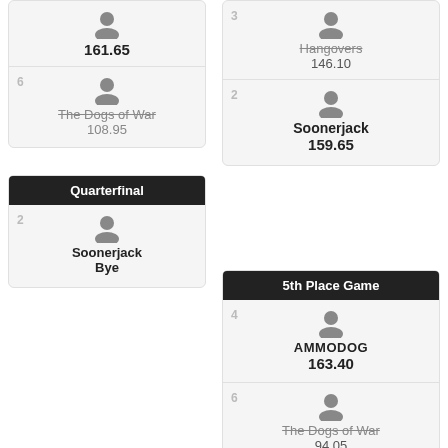161.65
6 The Dogs of War 108.95
Quarterfinal
2 Soonerjack Bye
3 Hangovers 146.10
2 Soonerjack 159.65
5th Place Game
4 AMMODOG 163.40
6 The Dogs of War 94.05